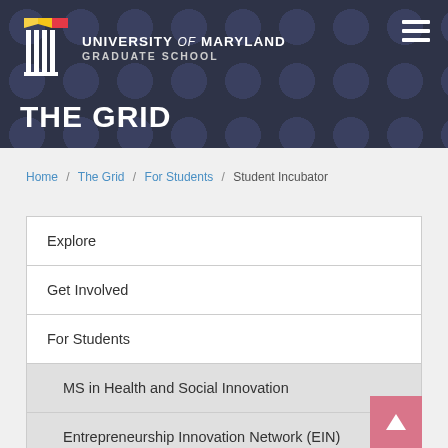University of Maryland Graduate School
THE GRID
Home / The Grid / For Students / Student Incubator
Explore
Get Involved
For Students
MS in Health and Social Innovation
Entrepreneurship Innovation Network (EIN)